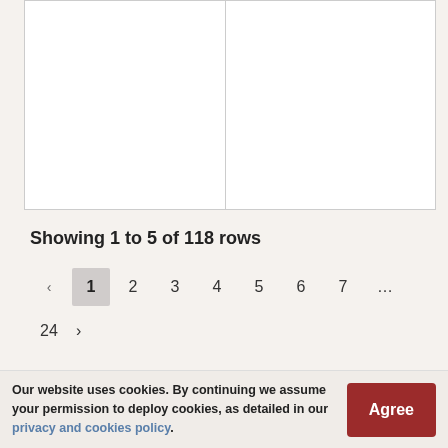[Figure (other): Partial table grid showing two columns with no visible data content, only the table border structure]
Showing 1 to 5 of 118 rows
‹ 1 2 3 4 5 6 7 … 24 ›
Our website uses cookies. By continuing we assume your permission to deploy cookies, as detailed in our privacy and cookies policy.